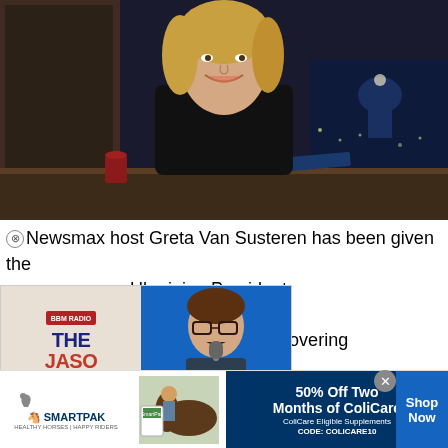[Figure (photo): Newsmax host Greta Van Susteren seated at a news anchor desk in a dark studio, wearing a black blazer, smiling at the camera. The US Capitol building is visible in the background through a window display.]
Newsmax host Greta Van Susteren has been given the [access by] Ukrainian President [Zelensky, fo]r working on Putin's [War coverage], a weeklong series covering
[Figure (advertisement): The Jason Barrett Podcast advertisement featuring Paul Finebaum with text 'PAUL FINEBAUM KNOWS THE POWER']
[Figure (advertisement): SmartPak advertisement: '50% Off Two Months of ColiCare. ColiCare Eligible Supplements. CODE: COLICARE10' with Shop Now button.]